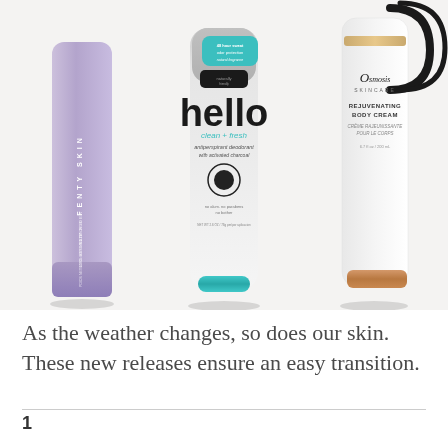[Figure (photo): Three personal care/skincare products on a light gray background: (left) Fenty Skin lavender body scrub tube, (center) Hello 'clean + fresh' antiperspirant deodorant with activated charcoal in a white/gray stick with teal cap, (right) Osmosis Skincare Rejuvenating Body Cream white tube with rose gold cap and black arc design.]
As the weather changes, so does our skin. These new releases ensure an easy transition.
1